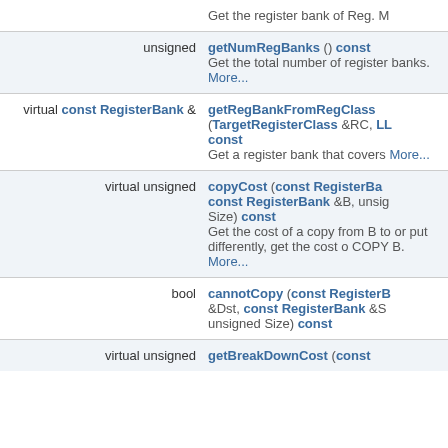| Type | Function/Description |
| --- | --- |
|  | Get the register bank of Reg. M |
| unsigned | getNumRegBanks () const
Get the total number of register banks. More... |
| virtual const RegisterBank & | getRegBankFromRegClass (TargetRegisterClass &RC, LL const
Get a register bank that covers More... |
| virtual unsigned | copyCost (const RegisterBa const RegisterBank &B, unsig Size) const
Get the cost of a copy from B to or put differently, get the cost o COPY B. More... |
| bool | cannotCopy (const RegisterB &Dst, const RegisterBank &S unsigned Size) const |
| virtual unsigned | getBreakDownCost (const |